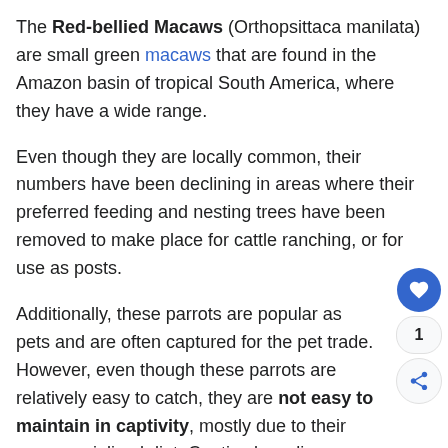The Red-bellied Macaws (Orthopsittaca manilata) are small green macaws that are found in the Amazon basin of tropical South America, where they have a wide range.
Even though they are locally common, their numbers have been declining in areas where their preferred feeding and nesting trees have been removed to make place for cattle ranching, or for use as posts.
Additionally, these parrots are popular as pets and are often captured for the pet trade. However, even though these parrots are relatively easy to catch, they are not easy to maintain in captivity, mostly due to their very specialized diet. Captive breeding successes are also very rare, probably for the same reason.